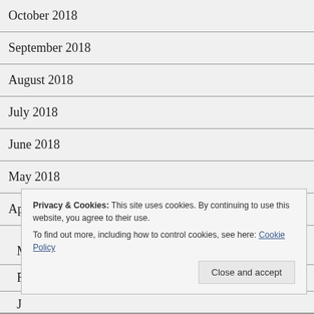October 2018
September 2018
August 2018
July 2018
June 2018
May 2018
April 2018
Privacy & Cookies: This site uses cookies. By continuing to use this website, you agree to their use. To find out more, including how to control cookies, see here: Cookie Policy
Close and accept